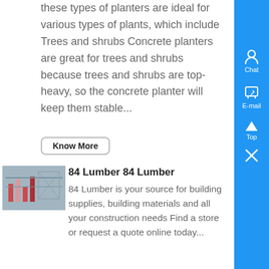these types of planters are ideal for various types of plants, which include Trees and shrubs Concrete planters are great for trees and shrubs because trees and shrubs are top-heavy, so the concrete planter will keep them stable...
Know More
[Figure (photo): Photo of 84 Lumber building or lumber yard with steel framing structure]
84 Lumber 84 Lumber
84 Lumber is your source for building supplies, building materials and all your construction needs Find a store or request a quote online today...
Know More
[Figure (photo): Photo of plastic lumber or vinyl products stacked at a yard]
Plastic lumber Vinyl Pergola Kits Parts Post, Rail ,
Plastic Lumber Yard offers a full...